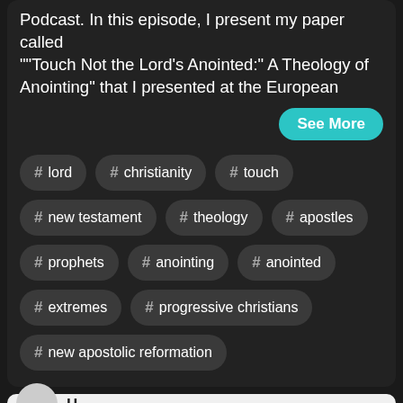Podcast. In this episode, I present my paper called ""Touch Not the Lord's Anointed:" A Theology of Anointing" that I presented at the European
See More
# lord
# christianity
# touch
# new testament
# theology
# apostles
# prophets
# anointing
# anointed
# extremes
# progressive christians
# new apostolic reformation